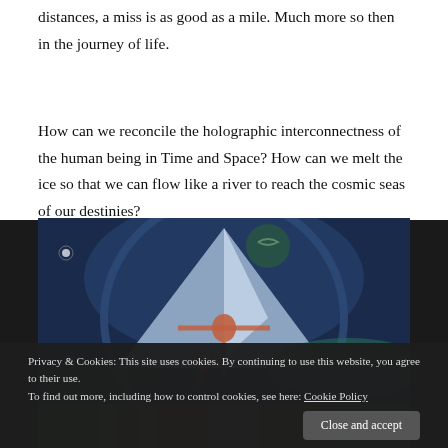distances, a miss is as good as a mile. Much more so then in the journey of life.
How can we reconcile the holographic interconnectness of the human being in Time and Space? How can we melt the ice so that we can flow like a river to reach the cosmic seas of our destinies?
[Figure (illustration): A surrealist or symbolic painting featuring a pyramid/crystal form, a figure with outstretched arms, cosmic imagery with dark blue background, circular motifs, and vivid colors.]
[Figure (illustration): Partial bottom strip of a colorful painting with green and multicolor tones.]
Privacy & Cookies: This site uses cookies. By continuing to use this website, you agree to their use.
To find out more, including how to control cookies, see here: Cookie Policy
Close and accept